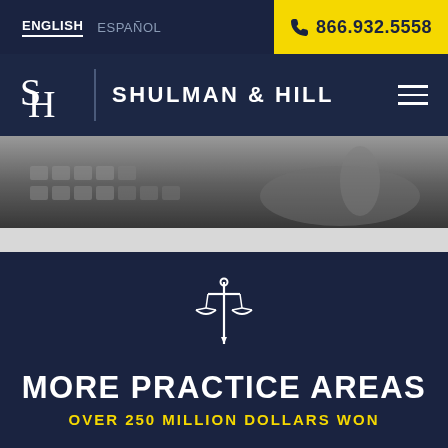ENGLISH  ESPAÑOL  866.932.5558
[Figure (logo): Shulman & Hill law firm logo with initials S H in serif font and firm name in bold sans-serif]
[Figure (photo): Black and white close-up photo of a hand on a keyboard or calculator]
[Figure (illustration): Line art icon of scales of justice with a sword through the center beam]
MORE PRACTICE AREAS
OVER 250 MILLION DOLLARS WON